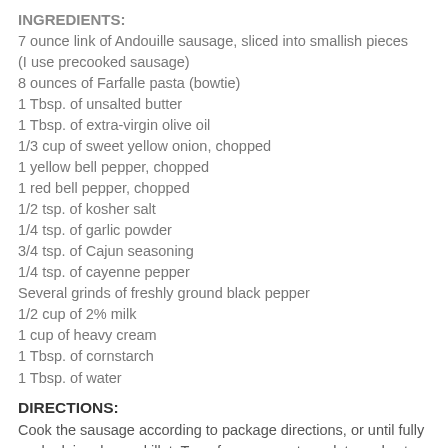INGREDIENTS:
7 ounce link of Andouille sausage, sliced into smallish pieces (I use precooked sausage)
8 ounces of Farfalle pasta (bowtie)
1 Tbsp. of unsalted butter
1 Tbsp. of extra-virgin olive oil
1/3 cup of sweet yellow onion, chopped
1 yellow bell pepper, chopped
1 red bell pepper, chopped
1/2 tsp. of kosher salt
1/4 tsp. of garlic powder
3/4 tsp. of Cajun seasoning
1/4 tsp. of cayenne pepper
Several grinds of freshly ground black pepper
1/2 cup of 2% milk
1 cup of heavy cream
1 Tbsp. of cornstarch
1 Tbsp. of water
DIRECTIONS:
Cook the sausage according to package directions, or until fully cooked, in a large skillet. Transfer sausage to a plate and set aside.